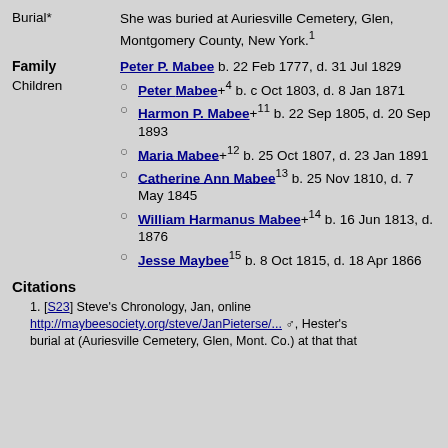Burial* — She was buried at Auriesville Cemetery, Glen, Montgomery County, New York.1
Family — Peter P. Mabee b. 22 Feb 1777, d. 31 Jul 1829
Children
Peter Mabee+4 b. c Oct 1803, d. 8 Jan 1871
Harmon P. Mabee+11 b. 22 Sep 1805, d. 20 Sep 1893
Maria Mabee+12 b. 25 Oct 1807, d. 23 Jan 1891
Catherine Ann Mabee13 b. 25 Nov 1810, d. 7 May 1845
William Harmanus Mabee+14 b. 16 Jun 1813, d. 1876
Jesse Maybee15 b. 8 Oct 1815, d. 18 Apr 1866
Citations
1. [S23] Steve's Chronology, Jan, online http://maybeesociety.org/steve/JanPieterse/... , Hester's burial at (Auriesville Cemetery, Glen, Mont. Co.) at that that